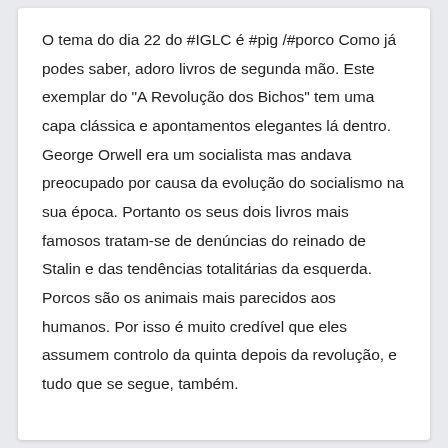O tema do dia 22 do #IGLC é #pig /#porco Como já podes saber, adoro livros de segunda mão. Este exemplar do "A Revolução dos Bichos" tem uma capa clássica e apontamentos elegantes lá dentro. George Orwell era um socialista mas andava preocupado por causa da evolução do socialismo na sua época. Portanto os seus dois livros mais famosos tratam-se de denúncias do reinado de Stalin e das tendências totalitárias da esquerda. Porcos são os animais mais parecidos aos humanos. Por isso é muito credível que eles assumem controlo da quinta depois da revolução, e tudo que se segue, também.